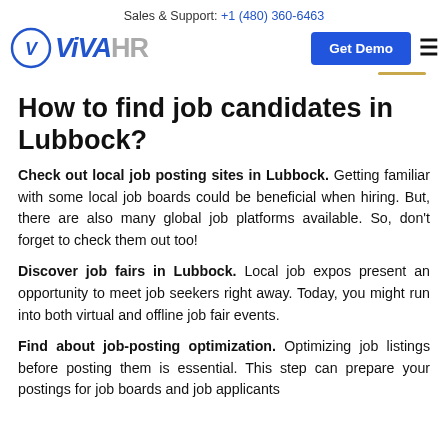Sales & Support: +1 (480) 360-6463
[Figure (logo): ViVA HR logo with blue circle containing a V checkmark, bold blue VIVA and grey HR text, Get Demo blue button, and hamburger menu icon]
How to find job candidates in Lubbock?
Check out local job posting sites in Lubbock. Getting familiar with some local job boards could be beneficial when hiring. But, there are also many global job platforms available. So, don't forget to check them out too!
Discover job fairs in Lubbock. Local job expos present an opportunity to meet job seekers right away. Today, you might run into both virtual and offline job fair events.
Find about job-posting optimization. Optimizing job listings before posting them is essential. This step can prepare your postings for job boards and job applicants